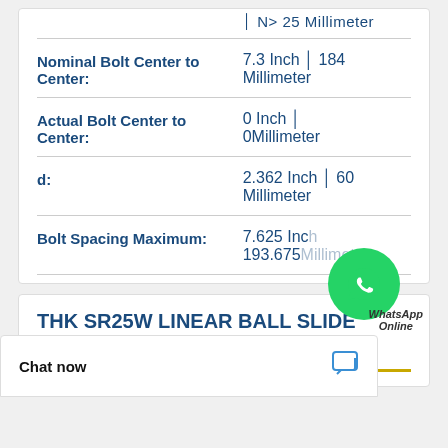| Property | Value |
| --- | --- |
| Nominal Bolt Center to Center: | 7.3 Inch | 184 Millimeter |
| Actual Bolt Center to Center: | 0 Inch | 0Millimeter |
| d: | 2.362 Inch | 60 Millimeter |
| Bolt Spacing Maximum: | 7.625 Inch | 193.675Millimeter |
THK SR25W LINEAR BALL SLIDE LENGTH 1000MM SYSTEMS
Chat now